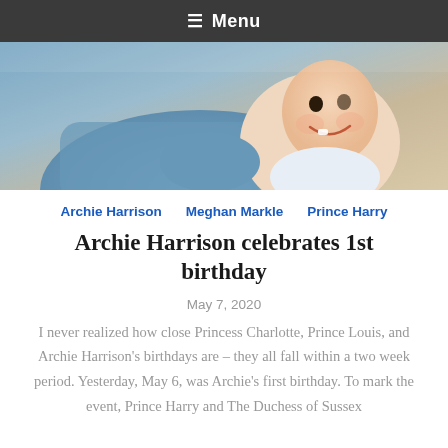≡ Menu
[Figure (photo): Photo of a smiling baby with an adult wearing a blue denim shirt, close-up shot]
Archie Harrison   Meghan Markle   Prince Harry
Archie Harrison celebrates 1st birthday
May 7, 2020
I never realized how close Princess Charlotte, Prince Louis, and Archie Harrison's birthdays are – they all fall within a two week period. Yesterday, May 6, was Archie's first birthday. To mark the event, Prince Harry and The Duchess of Sussex